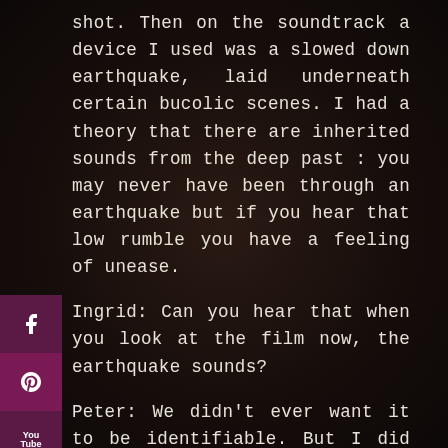shot.  Then on the soundtrack a device I used was a slowed down earthquake, laid underneath certain bucolic scenes. I had a theory that there are inherited sounds from the deep past : you may never have been through an earthquake but if you hear that low rumble you have a feeling of unease.
Ingrid:  Can you hear that when you look at the film now, the earthquake  sounds?
Peter: We didn't ever want it to be identifiable.  But I did have occasional comments from people who had seen the film who would confirm that it did work, one person said  " I kept thinking, was the theatre I was in built over a subway?"